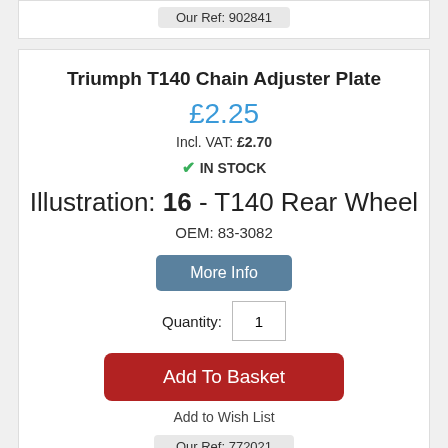Our Ref: 902841
Triumph T140 Chain Adjuster Plate
£2.25
Incl. VAT: £2.70
✔ IN STOCK
Illustration: 16 - T140 Rear Wheel
OEM: 83-3082
More Info
Quantity: 1
Add To Basket
Add to Wish List
Our Ref: 772021